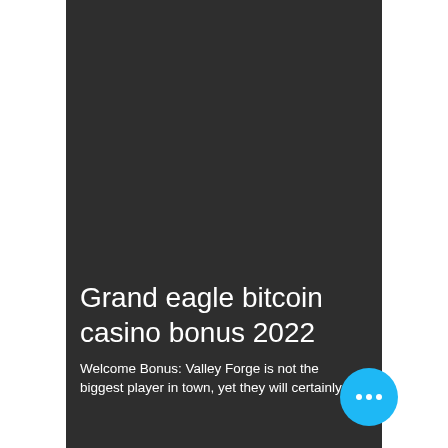[Figure (other): Dark gray background panel occupying the central portion of the page, with white margins on the left and right sides.]
Grand eagle bitcoin casino bonus 2022
Welcome Bonus: Valley Forge is not the biggest player in town, yet they will certainly